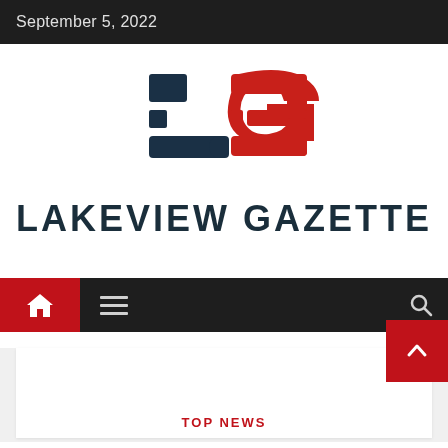September 5, 2022
[Figure (logo): Lakeview Gazette logo: stylized L in dark teal and G in red, geometric block letterforms]
LAKEVIEW GAZETTE
[Figure (screenshot): Navigation bar with red home icon button, hamburger menu icon, and search icon on dark background; red scroll-to-top arrow button on right]
TOP NEWS